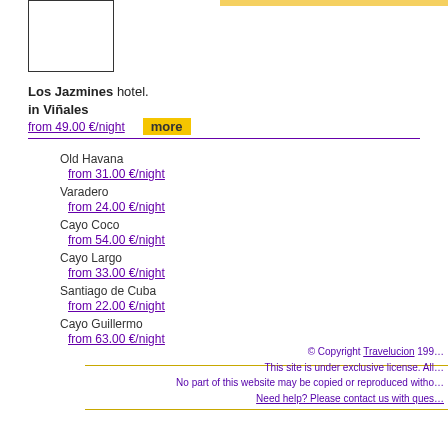[Figure (photo): Hotel image placeholder box for Los Jazmines hotel]
Los Jazmines hotel.
in Viñales
from 49.00 €/night   more
Old Havana
from 31.00 €/night
Varadero
from 24.00 €/night
Cayo Coco
from 54.00 €/night
Cayo Largo
from 33.00 €/night
Santiago de Cuba
from 22.00 €/night
Cayo Guillermo
from 63.00 €/night
© Copyright Travelucion 199... This site is under exclusive license. All... No part of this website may be copied or reproduced witho... Need help? Please contact us with ques...